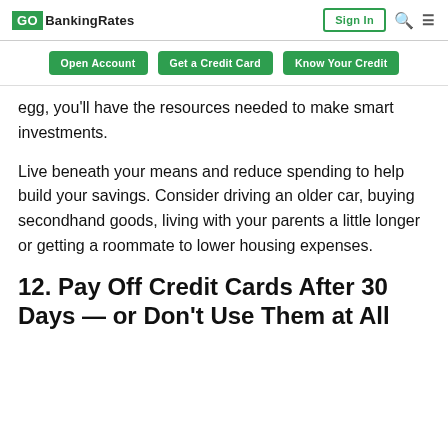GOBankingRates | Sign In
Open Account  Get a Credit Card  Know Your Credit
egg, you'll have the resources needed to make smart investments.
Live beneath your means and reduce spending to help build your savings. Consider driving an older car, buying secondhand goods, living with your parents a little longer or getting a roommate to lower housing expenses.
12. Pay Off Credit Cards After 30 Days — or Don't Use Them at All